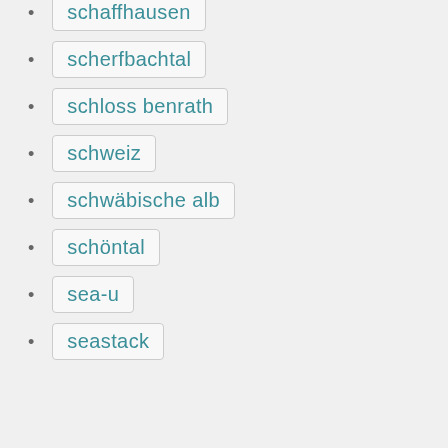schaffhausen
scherfbachtal
schloss benrath
schweiz
schwäbische alb
schöntal
sea-u
seastack